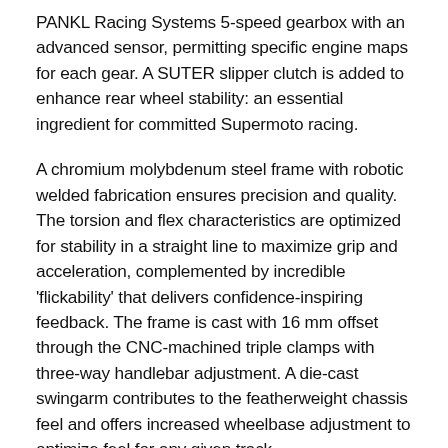PANKL Racing Systems 5-speed gearbox with an advanced sensor, permitting specific engine maps for each gear. A SUTER slipper clutch is added to enhance rear wheel stability: an essential ingredient for committed Supermoto racing.
A chromium molybdenum steel frame with robotic welded fabrication ensures precision and quality. The torsion and flex characteristics are optimized for stability in a straight line to maximize grip and acceleration, complemented by incredible 'flickability' that delivers confidence-inspiring feedback. The frame is cast with 16 mm offset through the CNC-machined triple clamps with three-way handlebar adjustment. A die-cast swingarm contributes to the featherweight chassis feel and offers increased wheelbase adjustment to optimize feel for any given track.
A Supermoto-specific suspension package includes the